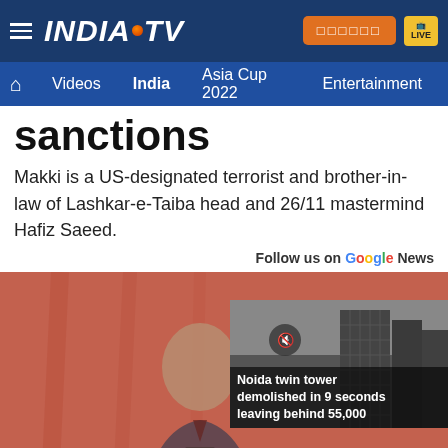INDIA TV — navigation header with Videos, India, Asia Cup 2022, Entertainment
sanctions
Makki is a US-designated terrorist and brother-in-law of Lashkar-e-Taiba head and 26/11 mastermind Hafiz Saeed.
Follow us on Google News
[Figure (photo): News article page from India TV with a photo of a man in a suit at a podium against a red background, and a thumbnail overlay showing a building with caption 'Noida twin tower demolished in 9 seconds leaving behind 55,000']